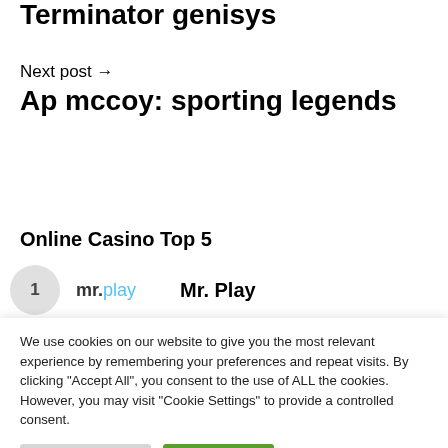Terminator genisys
Next post →
Ap mccoy: sporting legends
Online Casino Top 5
mr.play   Mr. Play
We use cookies on our website to give you the most relevant experience by remembering your preferences and repeat visits. By clicking "Accept All", you consent to the use of ALL the cookies. However, you may visit "Cookie Settings" to provide a controlled consent.
Cookie Settings   Accept All